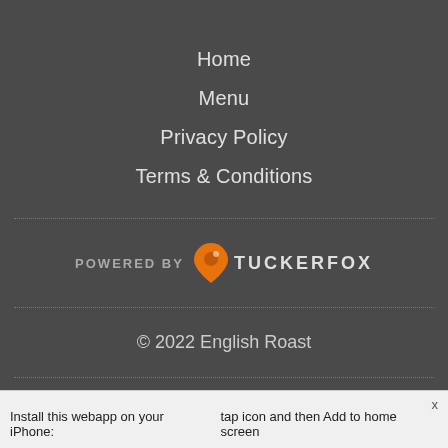Home
Menu
Privacy Policy
Terms & Conditions
[Figure (logo): POWERED BY TUCKERFOX logo with orange location pin icon]
© 2022 English Roast
[Figure (logo): Payment icons: Square Cash, PayPal, Mastercard, VISA]
Install this webapp on your iPhone:    tap icon and then Add to home screen